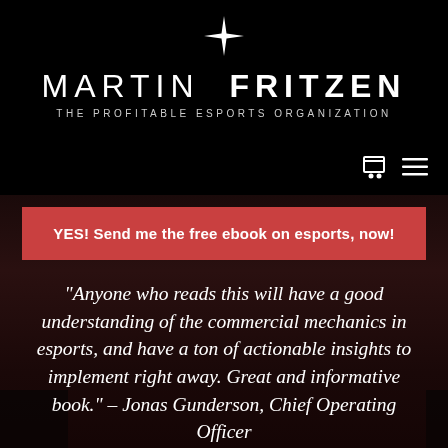[Figure (logo): Martin Fritzen logo — white 4-pointed star above large white text 'MARTIN FRITZEN' with subtitle 'THE PROFITABLE ESPORTS ORGANIZATION' on black background]
[Figure (screenshot): Navigation icons: shopping cart and hamburger menu in white on black background]
YES! Send me the free ebook on esports, now!
“Anyone who reads this will have a good understanding of the commercial mechanics in esports, and have a ton of actionable insights to implement right away. Great and informative book.” – Jonas Gunderson, Chief Operating Officer